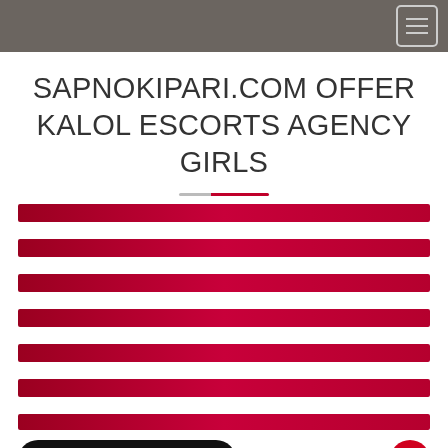Navigation menu header bar
SAPNOKIPARI.COM OFFER KALOL ESCORTS AGENCY GIRLS
[Figure (other): Decorative horizontal red gradient bars repeated vertically across the page, with a phone call button bar at the bottom showing '+91' and a red circle button]